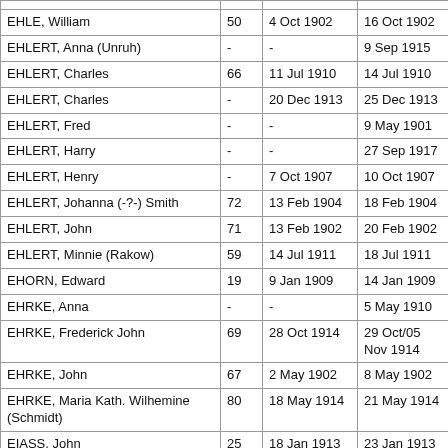| Name | Age | Date Died | Date Buried |
| --- | --- | --- | --- |
| EHLE, William | 50 | 4 Oct 1902 | 16 Oct 1902 |
| EHLERT, Anna (Unruh) | - | - | 9 Sep 1915 |
| EHLERT, Charles | 66 | 11 Jul 1910 | 14 Jul 1910 |
| EHLERT, Charles | - | 20 Dec 1913 | 25 Dec 1913 |
| EHLERT, Fred | - | - | 9 May 1901 |
| EHLERT, Harry | - | - | 27 Sep 1917 |
| EHLERT, Henry | - | 7 Oct 1907 | 10 Oct 1907 |
| EHLERT, Johanna (-?-) Smith | 72 | 13 Feb 1904 | 18 Feb 1904 |
| EHLERT, John | 71 | 13 Feb 1902 | 20 Feb 1902 |
| EHLERT, Minnie (Rakow) | 59 | 14 Jul 1911 | 18 Jul 1911 |
| EHORN, Edward | 19 | 9 Jan 1909 | 14 Jan 1909 |
| EHRKE, Anna | - | - | 5 May 1910 |
| EHRKE, Frederick John | 69 | 28 Oct 1914 | 29 Oct/05 Nov 1914 |
| EHRKE, John | 67 | 2 May 1902 | 8 May 1902 |
| EHRKE, Maria Kath. Wilhemine (Schmidt) | 80 | 18 May 1914 | 21 May 1914 |
| EIASS, John | 25 | 18 Jan 1913 | 23 Jan 1913 |